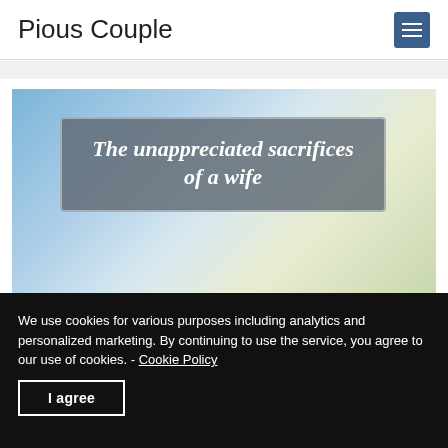Pious Couple
[Figure (illustration): Article header image with blue/light background and a gray rounded rectangle overlay containing the bold italic white text 'The unappreciated sacrifices of a wife']
We use cookies for various purposes including analytics and personalized marketing. By continuing to use the service, you agree to our use of cookies. - Cookie Policy
I agree